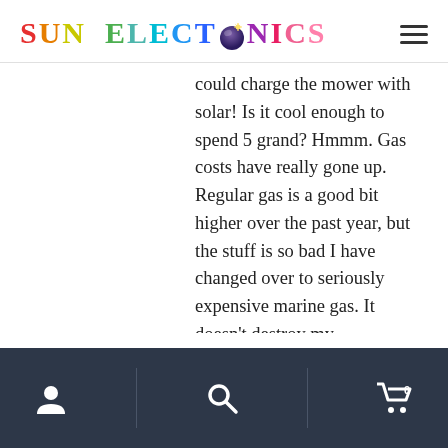SUN ELECTRONICS
could charge the mower with solar! Is it cool enough to spend 5 grand? Hmmm. Gas costs have really gone up. Regular gas is a good bit higher over the past year, but the stuff is so bad I have changed over to seriously expensive marine gas. It doesn't destroy my carburetors and fuel pumps. Or stick valves and bend pushrods. I don't normally consider engines a problem, but thinking back I spent a lot of
User | Search | Cart 0